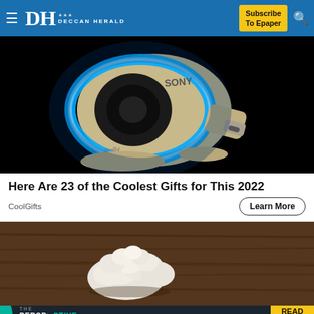Deccan Herald — Subscribe To Epaper
[Figure (photo): Sony brand futuristic camera/device with blue glowing ring light on black background, with 'Sony' and 'Rolly' text visible on the device]
Here Are 23 of the Coolest Gifts for This 2022
CoolGifts
[Figure (photo): Close-up photo of white fluffy popcorn or cauliflower on a rustic wooden surface]
[Figure (infographic): THE PERSPECTIVE — SEE WHAT YOU'RE MISSING banner advertisement with teal and dark background, and READ MORE button in yellow]